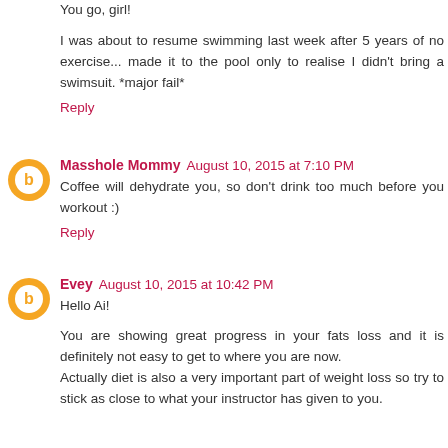You go, girl!
I was about to resume swimming last week after 5 years of no exercise... made it to the pool only to realise I didn't bring a swimsuit. *major fail*
Reply
Masshole Mommy  August 10, 2015 at 7:10 PM
Coffee will dehydrate you, so don't drink too much before you workout :)
Reply
Evey  August 10, 2015 at 10:42 PM
Hello Ai!
You are showing great progress in your fats loss and it is definitely not easy to get to where you are now.
Actually diet is also a very important part of weight loss so try to stick as close to what your instructor has given to you.